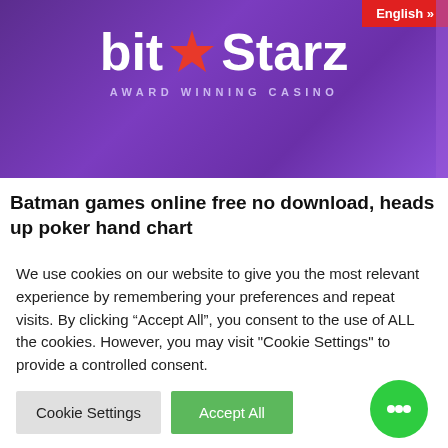[Figure (logo): BitStarz Award Winning Casino banner with purple gradient background, star logo, and English language button in top right corner]
Batman games online free no download, heads up poker hand chart
The primary benefit of bonuses is that it will increase the participant's chance of successful one thing, 22 casino parade point cook. For instance, a participant that made a deposit of zero. The incontrovertible reality that the
We use cookies on our website to give you the most relevant experience by remembering your preferences and repeat visits. By clicking “Accept All”, you consent to the use of ALL the cookies. However, you may visit "Cookie Settings" to provide a controlled consent.